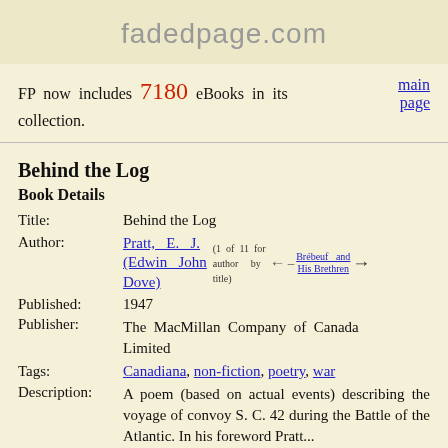fadedpage.com
FP now includes 7180 eBooks in its collection.
Behind the Log
Book Details
| Field | Value |
| --- | --- |
| Title: | Behind the Log |
| Author: | Pratt, E. J. (Edwin John Dove) (1 of 11 for author by title) → Brébeuf and His Brethren |
| Published: | 1947 |
| Publisher: | The MacMillan Company of Canada Limited |
| Tags: | Canadiana, non-fiction, poetry, war |
| Description: | A poem (based on actual events) describing the voyage of convoy S. C. 42 during the Battle of the Atlantic. In his foreword Pratt... |